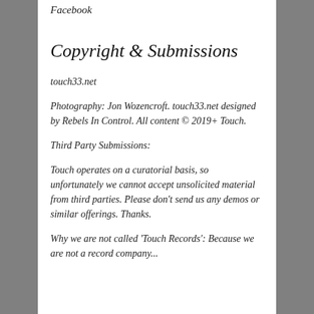Facebook
Copyright & Submissions
touch33.net
Photography: Jon Wozencroft. touch33.net designed by Rebels In Control. All content © 2019+ Touch.
Third Party Submissions:
Touch operates on a curatorial basis, so unfortunately we cannot accept unsolicited material from third parties. Please don't send us any demos or similar offerings. Thanks.
Why we are not called 'Touch Records': Because we are not a record company...